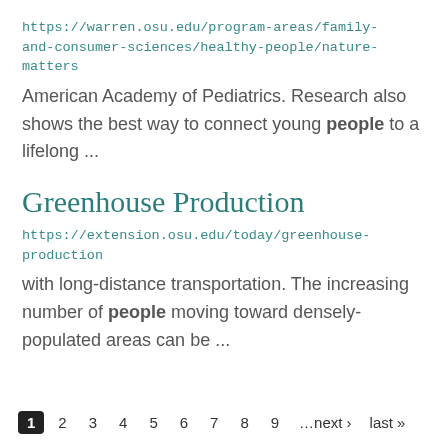https://warren.osu.edu/program-areas/family-and-consumer-sciences/healthy-people/nature-matters
American Academy of Pediatrics. Research also shows the best way to connect young people to a lifelong ...
Greenhouse Production
https://extension.osu.edu/today/greenhouse-production
with long-distance transportation. The increasing number of people moving toward densely-populated areas can be ...
1 2 3 4 5 6 7 8 9 …next › last »